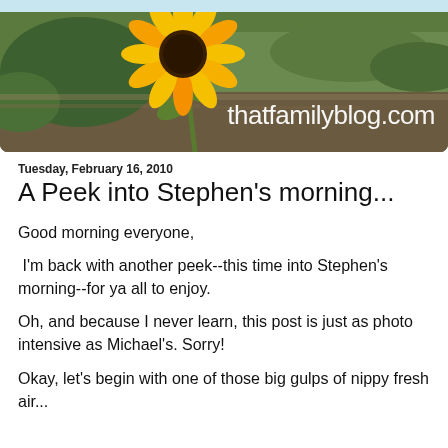[Figure (photo): Blog header banner with a large sunflower on the left and text 'thatfamilyblog.com' on a nature/garden background]
Tuesday, February 16, 2010
A Peek into Stephen's morning...
Good morning everyone,
I'm back with another peek--this time into Stephen's morning--for ya all to enjoy.
Oh, and because I never learn, this post is just as photo intensive as Michael's. Sorry!
Okay, let's begin with one of those big gulps of nippy fresh air...